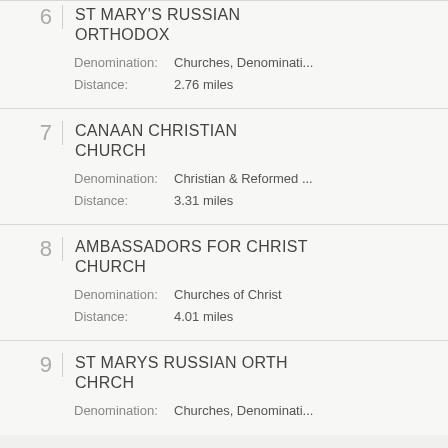6 ST MARY'S RUSSIAN ORTHODOX
Denomination: Churches, Denominati...
Distance: 2.76 miles
7 CANAAN CHRISTIAN CHURCH
Denomination: Christian & Reformed ...
Distance: 3.31 miles
8 AMBASSADORS FOR CHRIST CHURCH
Denomination: Churches of Christ
Distance: 4.01 miles
9 ST MARYS RUSSIAN ORTH CHRCH
Denomination: Churches, Denominati...